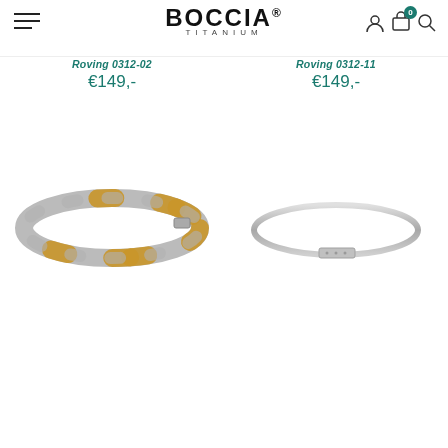BOCCIA® TITANIUM
Roving 0312-02
€149,-
Roving 0312-11
€149,-
[Figure (photo): Boccia Titanium link bracelet with alternating silver and gold-tone segments]
[Figure (photo): Boccia Titanium slim bangle bracelet in silver-tone titanium with rectangular clasp]